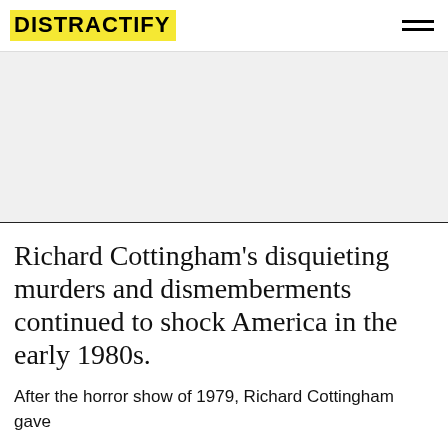DISTRACTIFY
[Figure (other): Advertisement or blank gray area placeholder]
Richard Cottingham's disquieting murders and dismemberments continued to shock America in the early 1980s.
After the horror show of 1979, Richard Cottingham gave